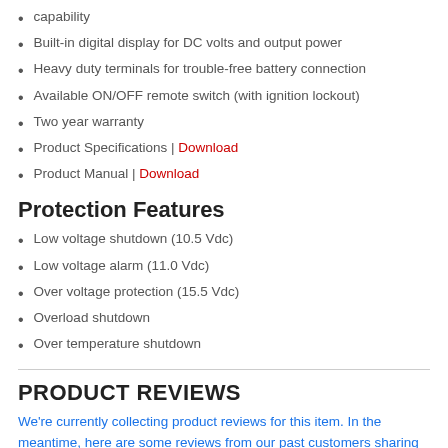capability
Built-in digital display for DC volts and output power
Heavy duty terminals for trouble-free battery connection
Available ON/OFF remote switch (with ignition lockout)
Two year warranty
Product Specifications | Download
Product Manual | Download
Protection Features
Low voltage shutdown (10.5 Vdc)
Low voltage alarm (11.0 Vdc)
Over voltage protection (15.5 Vdc)
Overload shutdown
Over temperature shutdown
PRODUCT REVIEWS
We're currently collecting product reviews for this item. In the meantime, here are some reviews from our past customers sharing their overall shopping experience.
[Figure (other): Green rating box showing rating number beginning with 4.]